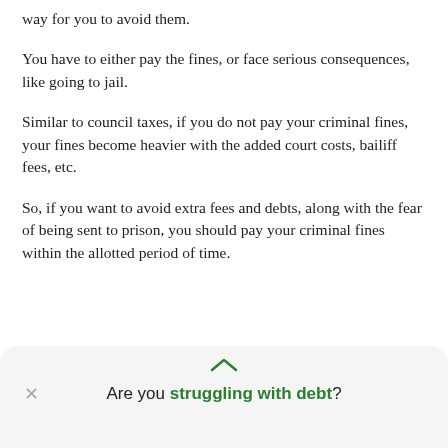way for you to avoid them.
You have to either pay the fines, or face serious consequences, like going to jail.
Similar to council taxes, if you do not pay your criminal fines, your fines become heavier with the added court costs, bailiff fees, etc.
So, if you want to avoid extra fees and debts, along with the fear of being sent to prison, you should pay your criminal fines within the allotted period of time.
Are you struggling with debt?